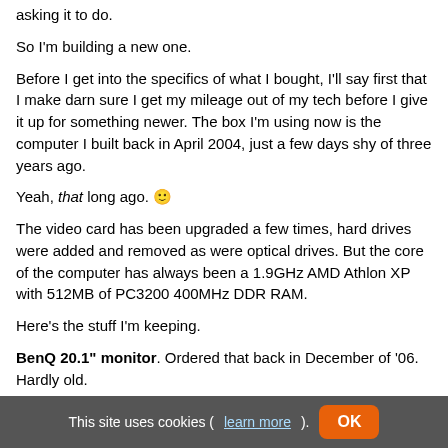asking it to do.
So I'm building a new one.
Before I get into the specifics of what I bought, I'll say first that I make darn sure I get my mileage out of my tech before I give it up for something newer. The box I'm using now is the computer I built back in April 2004, just a few days shy of three years ago.
Yeah, that long ago. 🙂
The video card has been upgraded a few times, hard drives were added and removed as were optical drives. But the core of the computer has always been a 1.9GHz AMD Athlon XP with 512MB of PC3200 400MHz DDR RAM.
Here's the stuff I'm keeping.
BenQ 20.1" monitor. Ordered that back in December of '06. Hardly old.
Logitech USB optical mouse. I bought this a long time ago at Wal-Mart. Works great and has never failed
This site uses cookies (learn more). OK